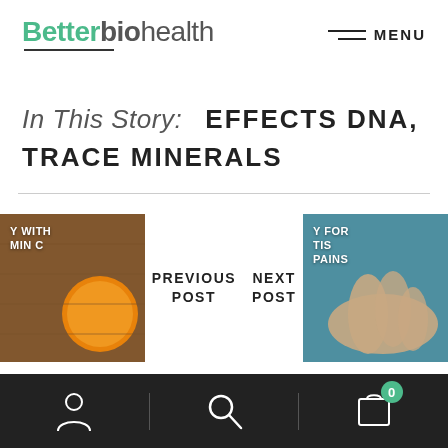BetterbioHealth
In This Story:   EFFECTS DNA,  TRACE MINERALS
PREVIOUS POST
NEXT POST
[Figure (photo): Image of vitamin C fruit on wooden surface with text 'WITH MIN C']
[Figure (photo): Image of arthritic hands with text 'FOR TIS PAINS']
[Figure (infographic): Bottom navigation bar with user icon, search icon, and cart icon with badge showing 0]